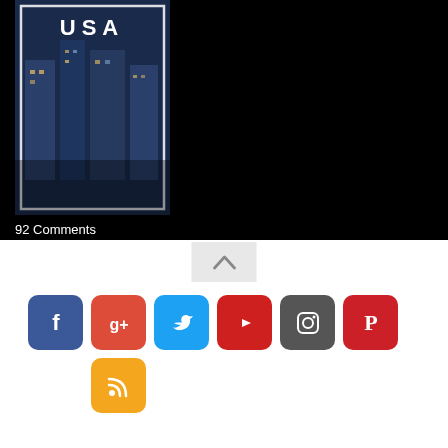[Figure (photo): USA city building photo with white border and 'USA' text overlay on dark blue toned image]
92 Comments
[Figure (other): Back-to-top button with upward chevron arrow on light grey background]
[Figure (infographic): Row of social media icons: Facebook (blue), Google+ (red), Twitter (light blue), YouTube (red), Instagram (grey), Pinterest (red), RSS (orange/yellow)]